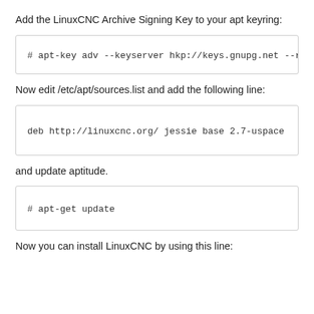Add the LinuxCNC Archive Signing Key to your apt keyring:
Now edit /etc/apt/sources.list and add the following line:
and update aptitude.
Now you can install LinuxCNC by using this line: